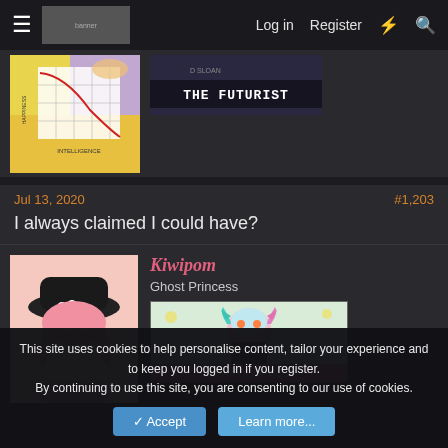Log in  Register
[Figure (screenshot): Forum navigation thumbnails: left shows a cartoon happiness vs intelligence graph, right shows 'The Futurist' banner image]
Jul 13, 2020   #1,203
I always claimed I could have?
Kiwipom
Ghost Princess
[Figure (illustration): Anime-style avatar of a girl with a black hat and pink hair]
[Figure (screenshot): WORSTGEN MOD badge with anime character]
This site uses cookies to help personalise content, tailor your experience and to keep you logged in if you register.
By continuing to use this site, you are consenting to our use of cookies.
Accept   Learn more...